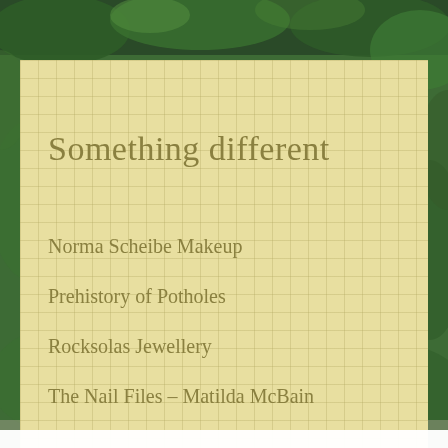[Figure (photo): Green jungle foliage background photograph behind the content panel]
Something different
Norma Scheibe Makeup
Prehistory of Potholes
Rocksolas Jewellery
The Nail Files – Matilda McBain
Privacy & Cookies: This site uses cookies. By continuing to use this website, you agree to their use.
To find out more, including how to control cookies, see here:
Cookie Policy
Close and accept